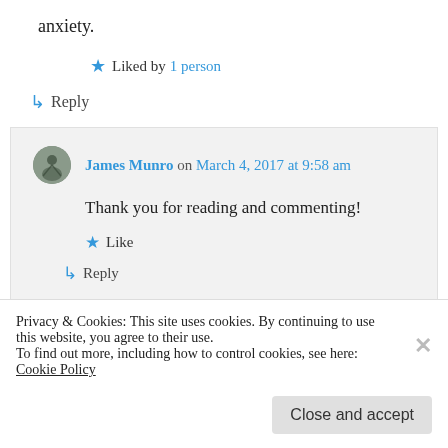anxiety.
★ Liked by 1 person
↳ Reply
James Munro on March 4, 2017 at 9:58 am
Thank you for reading and commenting!
★ Like
↳ Reply
Privacy & Cookies: This site uses cookies. By continuing to use this website, you agree to their use.
To find out more, including how to control cookies, see here: Cookie Policy
Close and accept